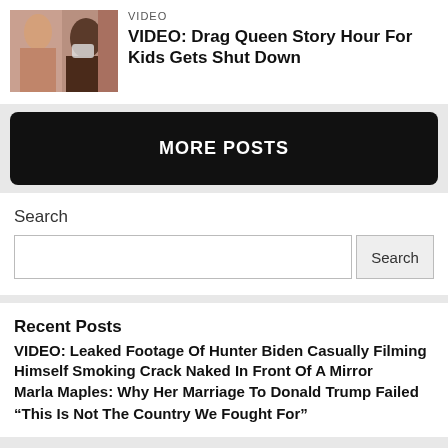[Figure (photo): Thumbnail image of people smiling, one wearing a mask]
VIDEO
VIDEO: Drag Queen Story Hour For Kids Gets Shut Down
MORE POSTS
Search
Recent Posts
VIDEO: Leaked Footage Of Hunter Biden Casually Filming Himself Smoking Crack Naked In Front Of A Mirror
Marla Maples: Why Her Marriage To Donald Trump Failed
“This Is Not The Country We Fought For”